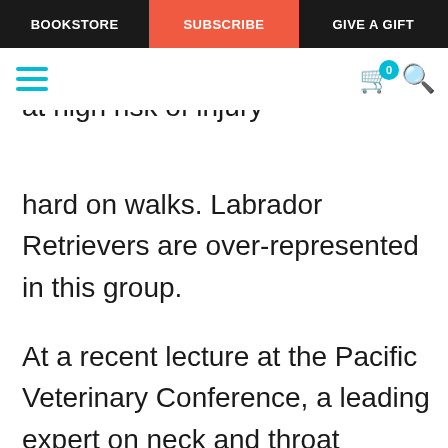BOOKSTORE | SUBSCRIBE | GIVE A GIFT
The other group of dogs that is at high risk of injury
hard on walks. Labrador Retrievers are over-represented in this group.
At a recent lecture at the Pacific Veterinary Conference, a leading expert on neck and throat surgery in dogs (the same individual who admonished